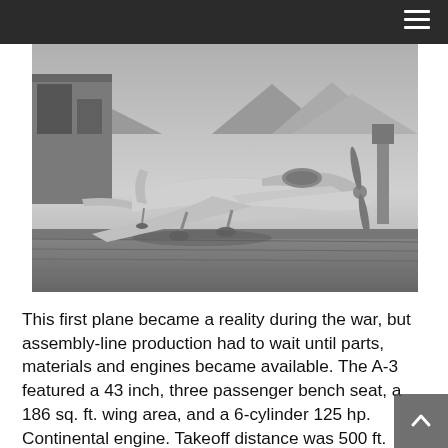≡
[Figure (photo): Black and white photograph of a small single-engine propeller airplane (the A-3) parked on a grass/dirt airfield in front of a hangar building, with mountains visible in the background.]
This first plane became a reality during the war, but assembly-line production had to wait until parts, materials and engines became available. The A-3 featured a 43 inch, three passenger bench seat, a 186 sq. ft. wing area, and a 6-cylinder 125 hp. Continental engine. Takeoff distance was 500 ft. Climb rate was 1,000 ft. the first minute. The service ceiling was 17,500 ft. The empty weight was 1000 pounds with a useful load of 550 pounds. Cruising speed was 120 mph and the stalling speed was 42 mph. Climb rate at sea level was 1,000 feet per